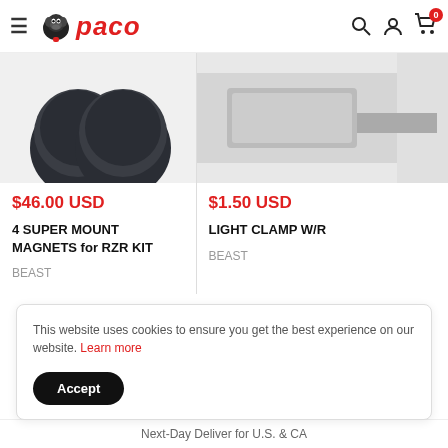PACO — navigation header with hamburger menu, logo, search, account, and cart icons
[Figure (photo): Two dark round super mount magnets on white background, partially cropped at top]
$46.00 USD
4 SUPER MOUNT MAGNETS for RZR KIT
BEAST
[Figure (photo): Partial view of light clamp product on grey/white background, right side cropped]
$1.50 USD
LIGHT CLAMP W/R...
BEAST
This website uses cookies to ensure you get the best experience on our website. Learn more
Accept
Next-Day Deliver for U.S. & CA